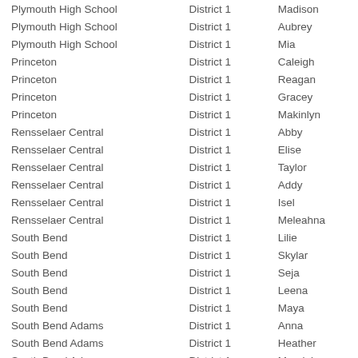| School | District | Name |
| --- | --- | --- |
| Plymouth High School | District 1 | Madison |
| Plymouth High School | District 1 | Aubrey |
| Plymouth High School | District 1 | Mia |
| Princeton | District 1 | Caleigh |
| Princeton | District 1 | Reagan |
| Princeton | District 1 | Gracey |
| Princeton | District 1 | Makinlyn |
| Rensselaer Central | District 1 | Abby |
| Rensselaer Central | District 1 | Elise |
| Rensselaer Central | District 1 | Taylor |
| Rensselaer Central | District 1 | Addy |
| Rensselaer Central | District 1 | Isel |
| Rensselaer Central | District 1 | Meleahna |
| South Bend | District 1 | Lilie |
| South Bend | District 1 | Skylar |
| South Bend | District 1 | Seja |
| South Bend | District 1 | Leena |
| South Bend | District 1 | Maya |
| South Bend Adams | District 1 | Anna |
| South Bend Adams | District 1 | Heather |
| South Bend Adams | District 1 | Magdalena |
| South Bend Adams | District 1 | Katherine |
| South Bend Adams | District 1 | Carla |
| South Bend Adams | District 1 | Jordan |